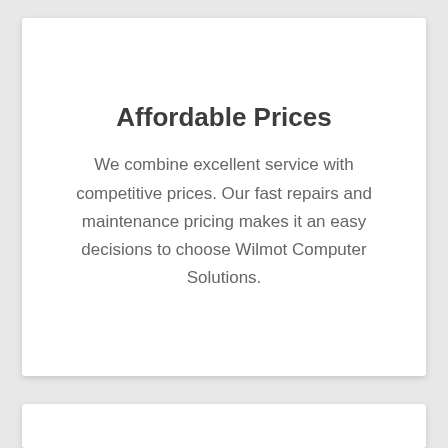Affordable Prices
We combine excellent service with competitive prices. Our fast repairs and maintenance pricing makes it an easy decisions to choose Wilmot Computer Solutions.